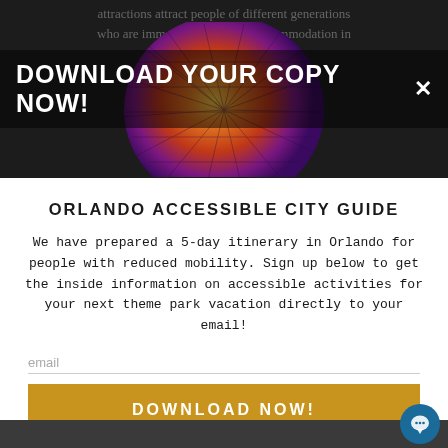[Figure (screenshot): Screenshot of a popup/modal overlay on a tourism website. Top half shows a dark image of the Epcot geodesic sphere (Spaceship Earth) in purple/orange lighting, with partially visible gray strikethrough text above it reading 'attractions attract people of different generations who are immersed in a dream accommodation in'. A bold white banner reads 'DOWNLOAD YOUR COPY NOW!' with an X close button. Bottom half is white with a title 'ORLANDO ACCESSIBLE CITY GUIDE', body text about a 5-day itinerary, an email input field, and a gold 'DOWNLOAD NOW!' button. A dark bottom bar with a blue chat bubble icon is at the very bottom.]
ORLANDO ACCESSIBLE CITY GUIDE
We have prepared a 5-day itinerary in Orlando for people with reduced mobility. Sign up below to get the inside information on accessible activities for your next theme park vacation directly to your email!